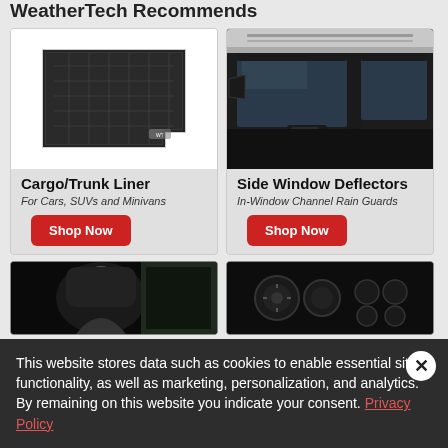WeatherTech Recommends
[Figure (photo): Black cargo/trunk liner mat with grid pattern and raised edges]
Cargo/Trunk Liner
For Cars, SUVs and Minivans
Shop Now
[Figure (photo): Car side window with dark window deflector/rain guard installed]
Side Window Deflectors
In-Window Channel Rain Guards
Shop Now
[Figure (photo): Car interior showing rear seat with person]
[Figure (photo): Car interior showing dashboard controls]
This website stores data such as cookies to enable essential site functionality, as well as marketing, personalization, and analytics. By remaining on this website you indicate your consent. Privacy Policy